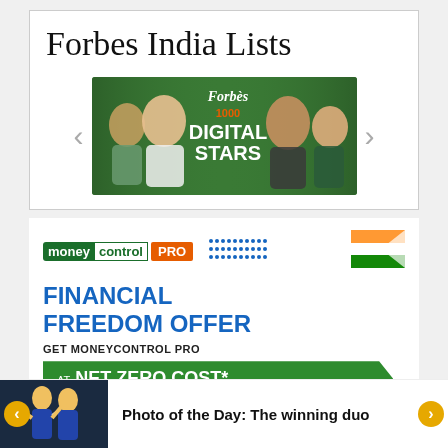Forbes India Lists
[Figure (screenshot): Forbes India 100 Digital Stars carousel banner with four celebrities/influencers on a green background]
[Figure (screenshot): Moneycontrol PRO advertisement: Financial Freedom Offer - Get Moneycontrol PRO at Net Zero Cost*. *Grab Vouchers Worth Rs. 1500]
Photo of the Day: The winning duo